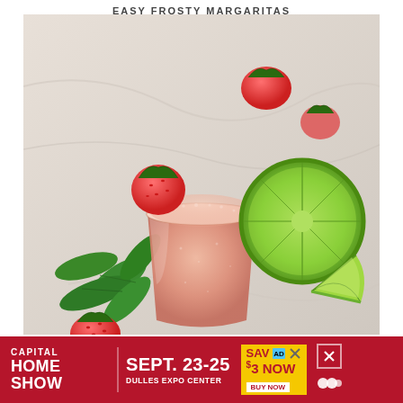EASY FROSTY MARGARITAS
[Figure (photo): A frosty pink strawberry margarita in a short glass with sugared rim, garnished with fresh strawberries and mint leaves, with lime halves and a yellow citrus wedge on a marble surface]
[Figure (infographic): Advertisement banner for Capital Home Show, Sept. 23-25 at Dulles Expo Center. Save $3 Now, Buy Now. Close button and Mediavine logo visible.]